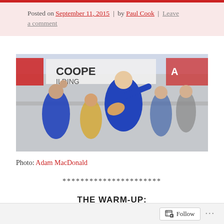Posted on September 11, 2015 | by Paul Cook | Leave a comment
[Figure (photo): A rugby player in a blue jersey running with the ball, pointing, with a crowd behind him near a 'COOPE BUILDING' banner]
Photo: Adam MacDonald
**********************
THE WARM-UP:
Follow ...